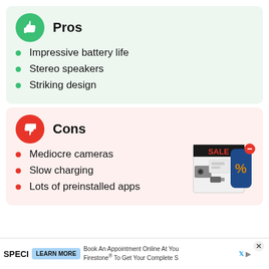Pros
Impressive battery life
Stereo speakers
Striking design
Cons
Mediocre cameras
Slow charging
Lots of preinstalled apps
[Figure (infographic): Advertisement image showing a black box with discount percentage symbols and tech products]
SPECI  LEARN MORE  Book An Appointment Online At You  Firestone® To Get Your Complete S  X